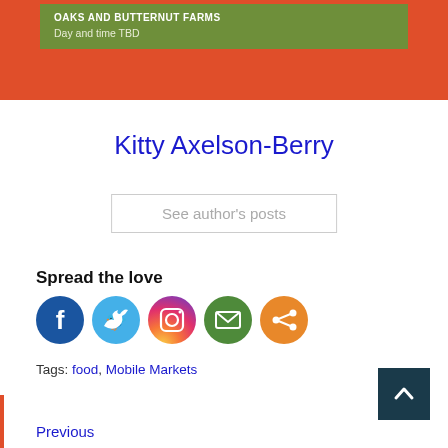[Figure (other): Orange banner with green inner box showing 'OAKS AND BUTTERNUT FARMS' and 'Day and time TBD']
Kitty Axelson-Berry
See author's posts
Spread the love
[Figure (infographic): Row of five social media icons: Facebook (dark blue), Twitter (light blue), Instagram (gradient pink/purple/orange), Email (green), Share (orange)]
Tags: food, Mobile Markets
Previous